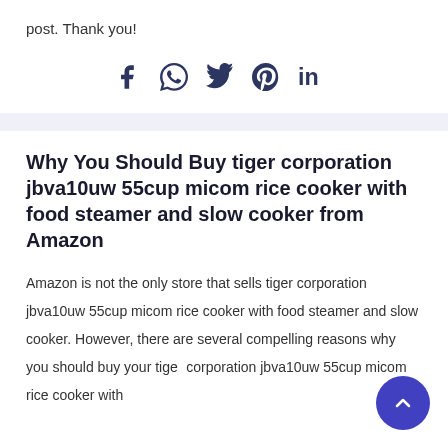post. Thank you!
[Figure (infographic): Social share icons: Facebook, WhatsApp, Twitter, Pinterest, LinkedIn]
Why You Should Buy tiger corporation jbva10uw 55cup micom rice cooker with food steamer and slow cooker from Amazon
Amazon is not the only store that sells tiger corporation jbva10uw 55cup micom rice cooker with food steamer and slow cooker. However, there are several compelling reasons why you should buy your tiger corporation jbva10uw 55cup micom rice cooker with